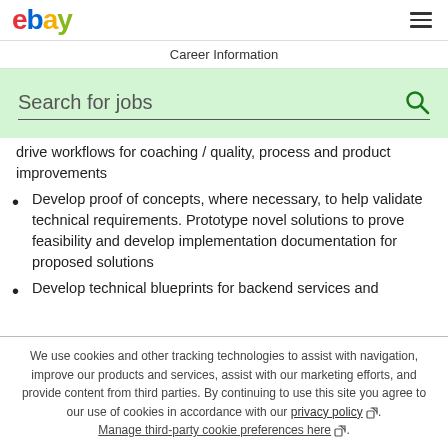ebay | Career Information
[Figure (screenshot): eBay jobs search bar with green background and magnifying glass icon, placeholder text 'Search for jobs']
drive workflows for coaching / quality, process and product improvements
Develop proof of concepts, where necessary, to help validate technical requirements. Prototype novel solutions to prove feasibility and develop implementation documentation for proposed solutions
Develop technical blueprints for backend services and
We use cookies and other tracking technologies to assist with navigation, improve our products and services, assist with our marketing efforts, and provide content from third parties. By continuing to use this site you agree to our use of cookies in accordance with our privacy policy. Manage third-party cookie preferences here.